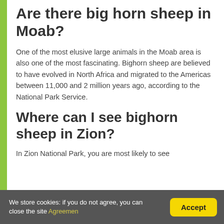Are there big horn sheep in Moab?
One of the most elusive large animals in the Moab area is also one of the most fascinating. Bighorn sheep are believed to have evolved in North Africa and migrated to the Americas between 11,000 and 2 million years ago, according to the National Park Service.
Where can I see bighorn sheep in Zion?
In Zion National Park, you are most likely to see
We store cookies: if you do not agree, you can close the site Agreemen   Accept